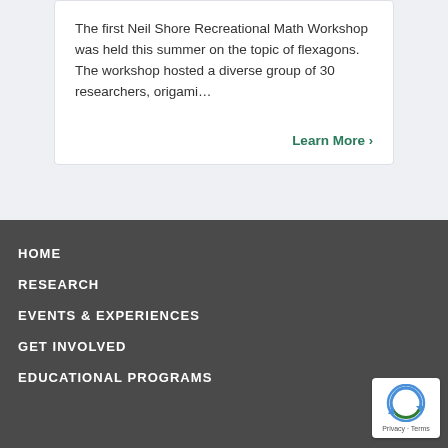The first Neil Shore Recreational Math Workshop was held this summer on the topic of flexagons. The workshop hosted a diverse group of 30 researchers, origami…
Learn More >
HOME
RESEARCH
EVENTS & EXPERIENCES
GET INVOLVED
EDUCATIONAL PROGRAMS